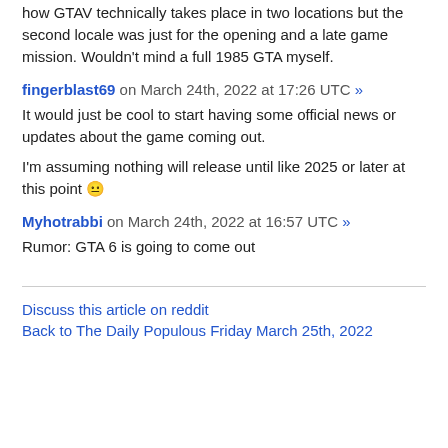how GTAV technically takes place in two locations but the second locale was just for the opening and a late game mission. Wouldn't mind a full 1985 GTA myself.
fingerblast69 on March 24th, 2022 at 17:26 UTC »
It would just be cool to start having some official news or updates about the game coming out.
I'm assuming nothing will release until like 2025 or later at this point 😐
Myhotrabbi on March 24th, 2022 at 16:57 UTC »
Rumor: GTA 6 is going to come out
Discuss this article on reddit
Back to The Daily Populous Friday March 25th, 2022